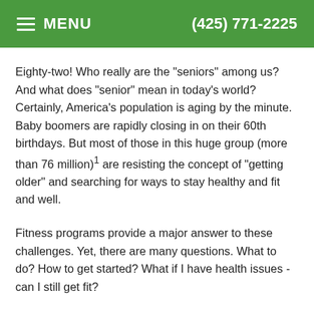≡ MENU   (425) 771-2225
Eighty-two! Who really are the "seniors" among us? And what does "senior" mean in today's world? Certainly, America's population is aging by the minute. Baby boomers are rapidly closing in on their 60th birthdays. But most of those in this huge group (more than 76 million)¹ are resisting the concept of "getting older" and searching for ways to stay healthy and fit and well.
Fitness programs provide a major answer to these challenges. Yet, there are many questions. What to do? How to get started? What if I have health issues - can I still get fit?